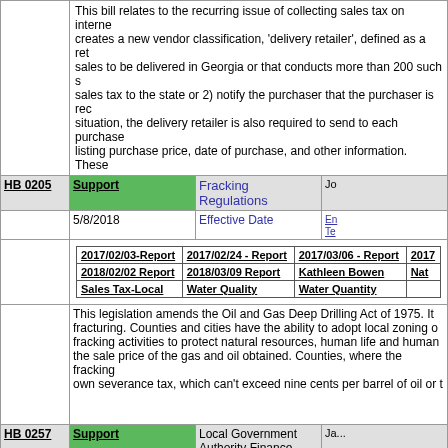This bill relates to the recurring issue of collecting sales tax on internet... creates a new vendor classification, 'delivery retailer', defined as a retailer... sales to be delivered in Georgia or that conducts more than 200 such s... sales tax to the state or 2) notify the purchaser that the purchaser is rec... situation, the delivery retailer is also required to send to each purchaser... listing purchase price, date of purchase, and other information. These ...
| HB 0205 | Support | Fracking Regulations | Jo... |
| --- | --- | --- | --- |
|  | 5/8/2018 | Effective Date | En... Te... |
|  | 2017/02/03-Report | 2017/02/24 - Report | 2017/03/06 - Report | 2017...
2018/02/02 Report | 2018/03/09 Report | Kathleen Bowen | Nat...
Sales Tax-Local | Water Quality | Water Quantity |  |  |
This legislation amends the Oil and Gas Deep Drilling Act of 1975. It... fracturing. Counties and cities have the ability to adopt local zoning o... fracking activities to protect natural resources, human life and human... the sale price of the gas and oil obtained. Counties, where the fracking... own severance tax, which can't exceed nine cents per barrel of oil or t...
| HB 0257 | Support | Local Government Authority Finance Reports | Jan... |
| --- | --- | --- | --- |
|  | 7/1/2018 | Effective Date | Go... |
|  | 2017/02/10 - Report... | 2017/02/17-Report | 2017/02/24 - Rep... |  |  |